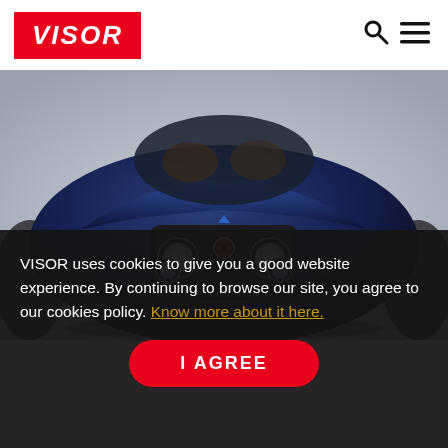VISOR
[Figure (photo): Front view of a navy blue retro-styled Alfa Romeo concept car with large round headlights, diamond-pattern grille, and the Alfa Romeo shield badge, photographed against a light grey background.]
VISOR uses cookies to give you a good website experience. By continuing to browse our site, you agree to our cookies policy. Know more about it here.
I AGREE